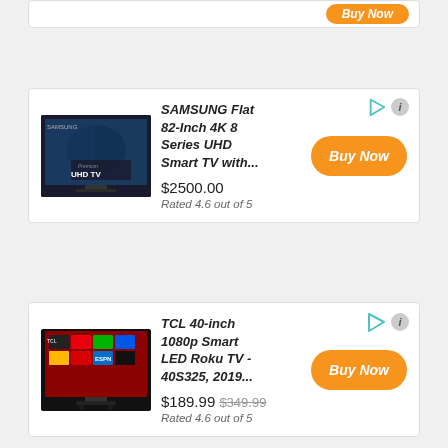[Figure (screenshot): Partial product card at top of page with orange Buy Now button]
[Figure (infographic): Samsung Flat 82-Inch 4K 8 Series UHD Smart TV product listing card with image, price $2500.00, rating 4.6 out of 5, and Buy Now button]
SAMSUNG Flat 82-Inch 4K 8 Series UHD Smart TV with...
$2500.00
Rated 4.6 out of 5
[Figure (infographic): TCL 40-inch 1080p Smart LED Roku TV - 40S325, 2019... product listing card with image, price $189.99 (was $349.99), rating 4.6 out of 5, and Buy Now button]
TCL 40-inch 1080p Smart LED Roku TV - 40S325, 2019...
$189.99 $349.99
Rated 4.6 out of 5